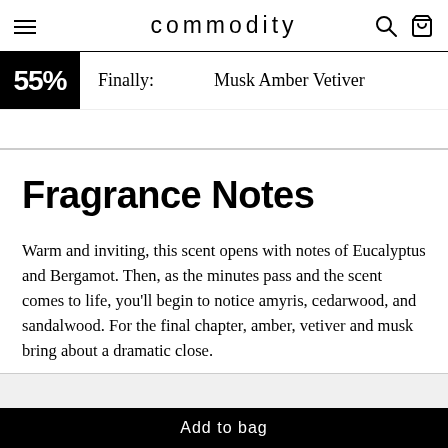commodity
[Figure (screenshot): Partial promotional banner showing a black badge with a percentage offer, 'Finally:' label, and 'Musk Amber Vetiver' product name]
Fragrance Notes
Warm and inviting, this scent opens with notes of Eucalyptus and Bergamot. Then, as the minutes pass and the scent comes to life, you'll begin to notice amyris, cedarwood, and sandalwood. For the final chapter, amber, vetiver and musk bring about a dramatic close.
Add to bag